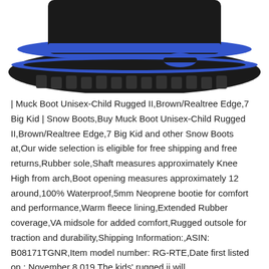[Figure (photo): Bottom sole and lower portion of a black and blue child's snow boot/muck boot, viewed from underneath/side angle showing rubber tread and blue accent stripe]
| Muck Boot Unisex-Child Rugged II,Brown/Realtree Edge,7 Big Kid | Snow Boots,Buy Muck Boot Unisex-Child Rugged II,Brown/Realtree Edge,7 Big Kid and other Snow Boots at,Our wide selection is eligible for free shipping and free returns,Rubber sole,Shaft measures approximately Knee High from arch,Boot opening measures approximately 12 around,100% Waterproof,5mm Neoprene bootie for comfort and performance,Warm fleece lining,Extended Rubber coverage,VA midsole for added comfort,Rugged outsole for traction and durability,Shipping Information:,ASIN: B08171TGNR,Item model number: RG-RTE,Date first listed on : November 8,019,The kids' rugged ii will